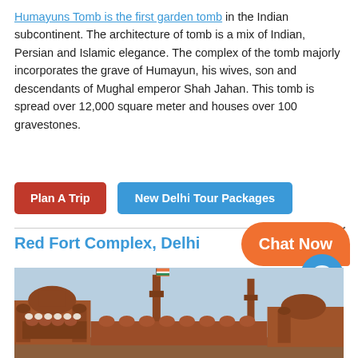Humayuns Tomb is the first garden tomb in the Indian subcontinent. The architecture of tomb is a mix of Indian, Persian and Islamic elegance. The complex of the tomb majorly incorporates the grave of Humayun, his wives, son and descendants of Mughal emperor Shah Jahan. This tomb is spread over 12,000 square meter and houses over 100 gravestones.
Plan A Trip
New Delhi Tour Packages
Red Fort Complex, Delhi
Chat Now
[Figure (photo): Photo of Red Fort Complex, Delhi showing the historic red sandstone architecture with domes, minarets, and an Indian flag flying, against a light blue sky.]